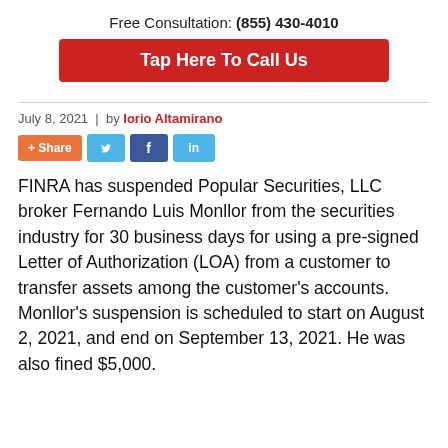Free Consultation: (855) 430-4010
Tap Here To Call Us
July 8, 2021 | by Iorio Altamirano
[Figure (other): Social share buttons: +Share, Twitter, Facebook, LinkedIn]
FINRA has suspended Popular Securities, LLC broker Fernando Luis Monllor from the securities industry for 30 business days for using a pre-signed Letter of Authorization (LOA) from a customer to transfer assets among the customer's accounts. Monllor's suspension is scheduled to start on August 2, 2021, and end on September 13, 2021. He was also fined $5,000.